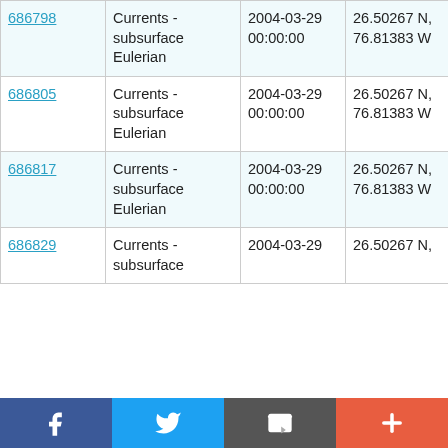| 686798 | Currents - subsurface Eulerian | 2004-03-29 00:00:00 | 26.50267 N, 76.81383 W | RRS Discovery D278 |
| 686805 | Currents - subsurface Eulerian | 2004-03-29 00:00:00 | 26.50267 N, 76.81383 W | RRS Discovery D278 |
| 686817 | Currents - subsurface Eulerian | 2004-03-29 00:00:00 | 26.50267 N, 76.81383 W | RRS Discovery D278 |
| 686829 | Currents - subsurface | 2004-03-29 | 26.50267 N, | RRS Discovery |